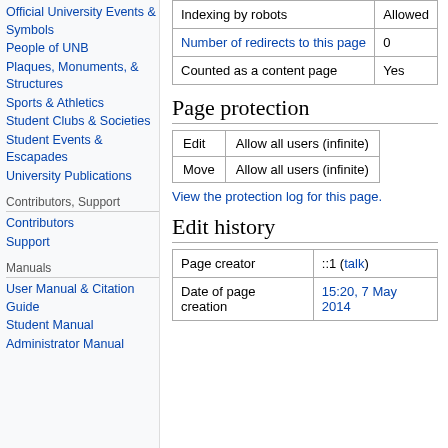Official University Events & Symbols
People of UNB
Plaques, Monuments, & Structures
Sports & Athletics
Student Clubs & Societies
Student Events & Escapades
University Publications
Contributors, Support
Contributors
Support
Manuals
User Manual & Citation Guide
Student Manual
Administrator Manual
|  |  |
| --- | --- |
| Indexing by robots | Allowed |
| Number of redirects to this page | 0 |
| Counted as a content page | Yes |
Page protection
|  |  |
| --- | --- |
| Edit | Allow all users (infinite) |
| Move | Allow all users (infinite) |
View the protection log for this page.
Edit history
|  |  |
| --- | --- |
| Page creator | ::1 (talk) |
| Date of page creation | 15:20, 7 May 2014 |